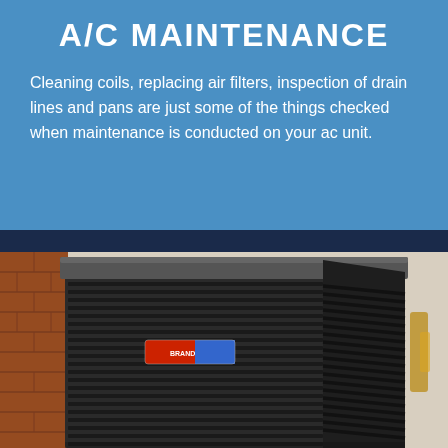A/C MAINTENANCE
Cleaning coils, replacing air filters, inspection of drain lines and pans are just some of the things checked when maintenance is conducted on your ac unit.
[Figure (photo): Outdoor air conditioning unit (condenser) with metal grill casing, a red and blue brand label, positioned against a brick wall]